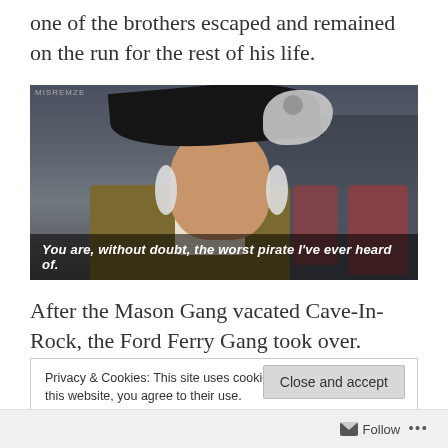one of the brothers escaped and remained on the run for the rest of his life.
[Figure (photo): A man dressed in a colonial-era military costume wearing a black tricorn hat with white feather plume, with soldiers in red uniforms visible behind him. Subtitle reads: 'You are, without doubt, the worst pirate I've ever heard of.']
After the Mason Gang vacated Cave-In-Rock, the Ford Ferry Gang took over. James Ford was a local
Privacy & Cookies: This site uses cookies. By continuing to use this website, you agree to their use.
To find out more, including how to control cookies, see here: Cookie Policy
Close and accept
Follow  ...